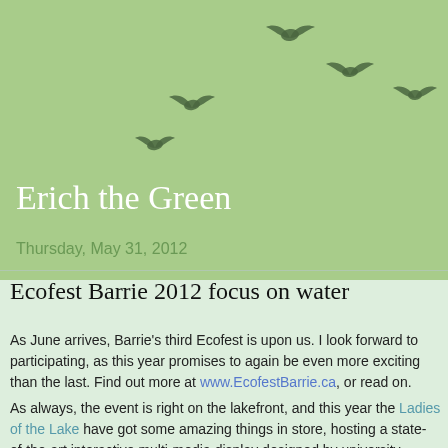[Figure (illustration): Green header background with silhouettes of flying birds arranged in a loose V-formation arc across the upper portion of the page]
Erich the Green
Thursday, May 31, 2012
Ecofest Barrie 2012 focus on water
As June arrives, Barrie's third Ecofest is upon us. I look forward to participating, as this year promises to again be even more exciting than the last. Find out more at www.EcofestBarrie.ca, or read on.
As always, the event is right on the lakefront, and this year the Ladies of the Lake have got some amazing things in store, hosting a state-of-the-art interactive multi-media display designed by university students which showcases